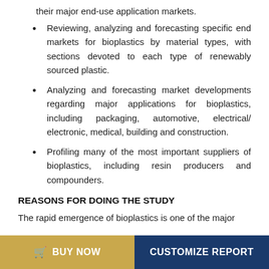their major end-use application markets.
Reviewing, analyzing and forecasting specific end markets for bioplastics by material types, with sections devoted to each type of renewably sourced plastic.
Analyzing and forecasting market developments regarding major applications for bioplastics, including packaging, automotive, electrical/ electronic, medical, building and construction.
Profiling many of the most important suppliers of bioplastics, including resin producers and compounders.
REASONS FOR DOING THE STUDY
The rapid emergence of bioplastics is one of the major
BUY NOW   CUSTOMIZE REPORT